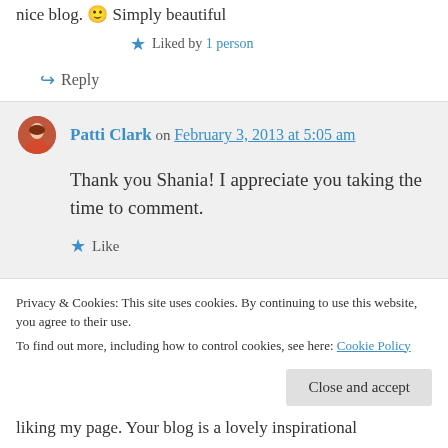nice blog. 🙂 Simply beautiful
★ Liked by 1 person
↪ Reply
Patti Clark on February 3, 2013 at 5:05 am
Thank you Shania! I appreciate you taking the time to comment.
★ Like
↪ Reply
Privacy & Cookies: This site uses cookies. By continuing to use this website, you agree to their use. To find out more, including how to control cookies, see here: Cookie Policy
Close and accept
liking my page. Your blog is a lovely inspirational